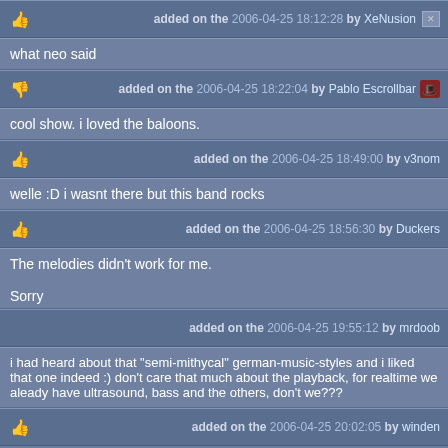added on the 2006-04-25 18:12:28 by XeNusion
what neo said
added on the 2006-04-25 18:22:04 by Pablo Escrollbar
cool show. i loved the baloons.
added on the 2006-04-25 18:49:00 by v3nom
welle :D i wasnt there but this band rocks
added on the 2006-04-25 18:56:30 by Duckers
The melodies didn't work for me.

Sorry
added on the 2006-04-25 19:55:12 by mrdoob
i had heard about that "semi-mithycal" german-music-styles and i liked that one indeed :) don't care that much about the playback, for realtime we aleady have ultrasound, bass and the others, don't we???
added on the 2006-04-25 20:02:05 by winden